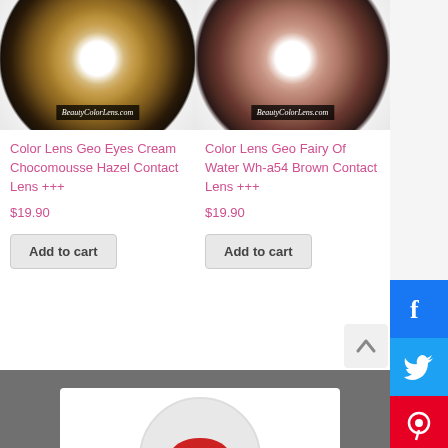[Figure (photo): Close-up photo of a hazel color contact lens in a case, showing brown/golden iris pattern with BeautyColorLens.com watermark]
[Figure (photo): Close-up photo of a brown color contact lens in a case, showing rose-brown iris pattern with BeautyColorLens.com watermark]
Color Lens Geo Eyes Cream Chocomousse Hazel Contact Lens +++
Color Lens Geo Fairy Of Water Wh-a54 Brown Contact Lens +++
$19.90
$19.90
Add to cart
Add to cart